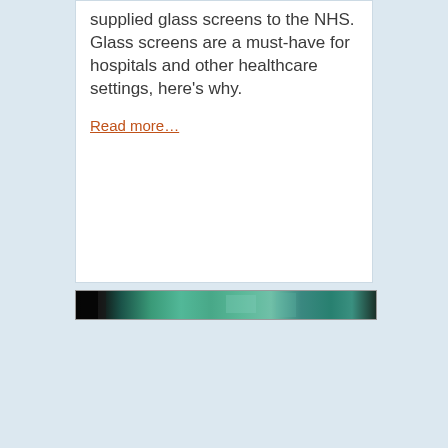supplied glass screens to the NHS. Glass screens are a must-have for hospitals and other healthcare settings, here's why.
Read more…
[Figure (photo): A narrow horizontal strip photograph showing glass screens, with dark and teal/green tones, likely depicting glass panels or screens in a healthcare environment.]